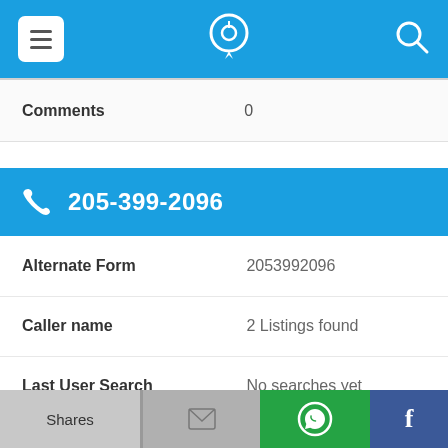205-399-2096 phone app header
| Field | Value |
| --- | --- |
| Comments | 0 |
205-399-2096
| Field | Value |
| --- | --- |
| Alternate Form | 2053992096 |
| Caller name | 2 Listings found |
| Last User Search | No searches yet |
| Comments | 0 |
Shares | email | WhatsApp | Facebook